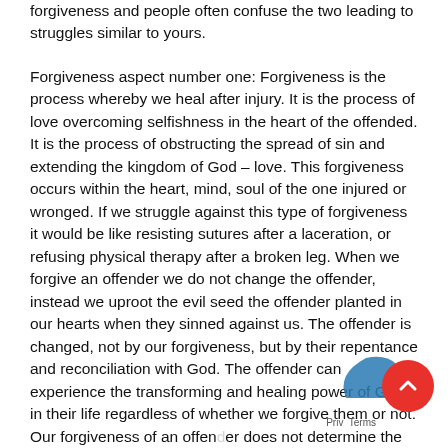forgiveness and people often confuse the two leading to struggles similar to yours.
Forgiveness aspect number one: Forgiveness is the process whereby we heal after injury. It is the process of love overcoming selfishness in the heart of the offended. It is the process of obstructing the spread of sin and extending the kingdom of God – love. This forgiveness occurs within the heart, mind, soul of the one injured or wronged. If we struggle against this type of forgiveness it would be like resisting sutures after a laceration, or refusing physical therapy after a broken leg. When we forgive an offender we do not change the offender, instead we uproot the evil seed the offender planted in our hearts when they sinned against us. The offender is changed, not by our forgiveness, but by their repentance and reconciliation with God. The offender can experience the transforming and healing power of God in their life regardless of whether we forgive them or not. Our forgiveness of an offender does not determine the outcome of the offender's life, it determines the outcome of our life. Why? Because when we refuse to forgive, but instead hold to resentment,